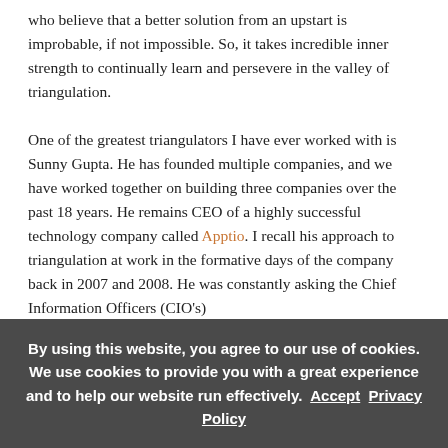who believe that a better solution from an upstart is improbable, if not impossible. So, it takes incredible inner strength to continually learn and persevere in the valley of triangulation.

One of the greatest triangulators I have ever worked with is Sunny Gupta. He has founded multiple companies, and we have worked together on building three companies over the past 18 years. He remains CEO of a highly successful technology company called Apptio. I recall his approach to triangulation at work in the formative days of the company back in 2007 and 2008. He was constantly asking the Chief Information Officers (CIO's)
By using this website, you agree to our use of cookies. We use cookies to provide you with a great experience and to help our website run effectively.  Accept  Privacy Policy